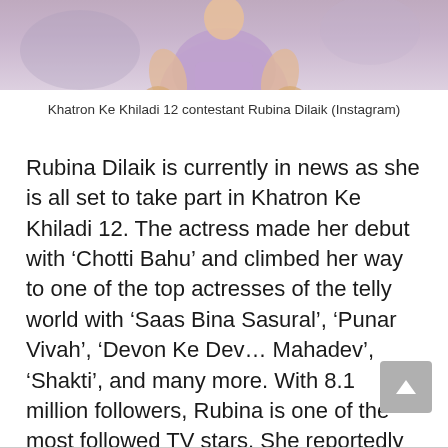[Figure (photo): Cropped photo of Khatron Ke Khiladi 12 contestant Rubina Dilaik, showing her torso in a light purple/lavender outfit with hands on hips]
Khatron Ke Khiladi 12 contestant Rubina Dilaik (Instagram)
Rubina Dilaik is currently in news as she is all set to take part in Khatron Ke Khiladi 12. The actress made her debut with ‘Chotti Bahu’ and climbed her way to one of the top actresses of the telly world with ‘Saas Bina Sasural’, ‘Punar Vivah’, ‘Devon Ke Dev… Mahadev’, ‘Shakti’, and many more. With 8.1 million followers, Rubina is one of the most followed TV stars. She reportedly charges around Rs 5.6L per Instagram post.